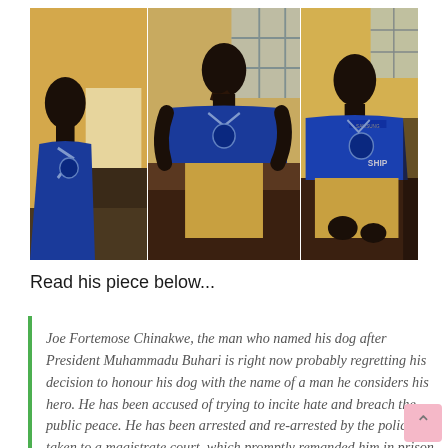[Figure (photo): Three-panel photo collage showing the same man (Joe Fortemose Chinakwe) in a blue jersey and khaki pants, seated in what appears to be a courtroom or holding area. Left panel: man in profile view. Center panel: man seated with chin resting on hand, full body visible. Right panel: man facing slightly right, upper body visible.]
Read his piece below...
Joe Fortemose Chinakwe, the man who named his dog after President Muhammadu Buhari is right now probably regretting his decision to honour his dog with the name of a man he considers his hero. He has been accused of trying to incite hate and breach the public peace. He has been arrested and re-arrested by the police and taken to a magistrate court, which promptly remanded him in prison